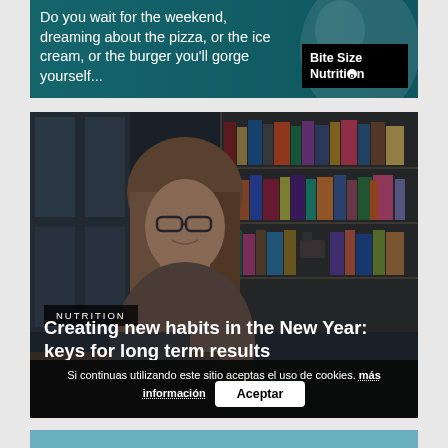[Figure (photo): Dark teal/green background card with white text about waiting for the weekend and food cravings, with a Bite Size Nutrition logo box in the bottom right.]
Do you wait for the weekend, dreaming about the pizza, or the ice cream, or the burger you'll gorge yourself...
[Figure (photo): Young woman with glasses and long brown hair sitting at a desk in front of a bookshelf, in a darkened photo. Overlaid with NUTRITION tag and article title.]
NUTRITION
Creating new habits in the New Year: keys for long term results
Si continuas utilizando este sitio aceptas el uso de cookies. más información   Aceptar
[Figure (photo): Partial bottom card showing another article image, cropped at the bottom of the page.]